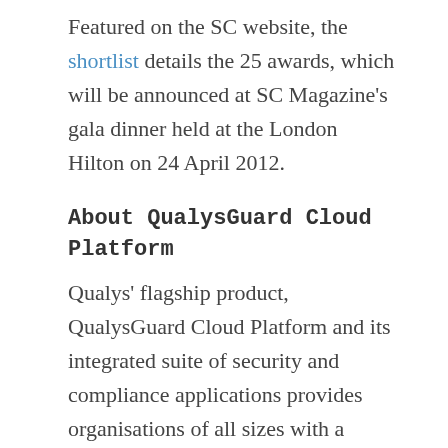Featured on the SC website, the shortlist details the 25 awards, which will be announced at SC Magazine's gala dinner held at the London Hilton on 24 April 2012.
About QualysGuard Cloud Platform
Qualys' flagship product, QualysGuard Cloud Platform and its integrated suite of security and compliance applications provides organisations of all sizes with a global view of their security and compliance postures, while drastically reducing total cost of ownership. The